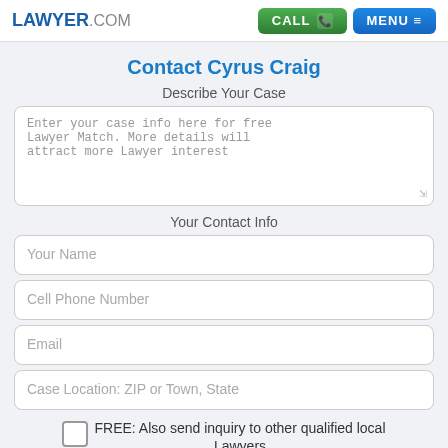LAWYER.COM | CALL | MENU
Contact Cyrus Craig
Describe Your Case
Enter your case info here for free Lawyer Match. More details will attract more Lawyer interest
Your Contact Info
Your Name
Cell Phone Number
Email
Case Location: ZIP or Town, State
FREE: Also send inquiry to other qualified local Lawyers
By submitting this lawyer request, I confirm I have read and agree to the Consent to Receive Messages, Terms of Use, and Privacy Policy.